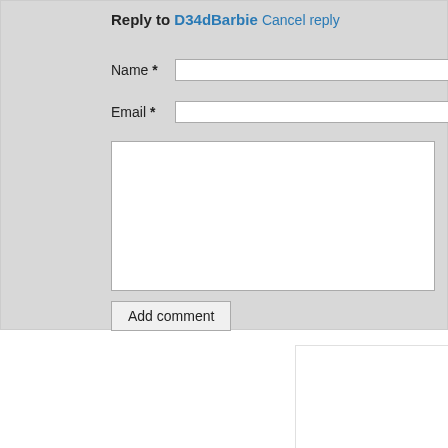Reply to D34dBarbie Cancel reply
Name *
Email *
Add comment
Related Videos
Tips & Techniques To Filming Your Cat
13,065 views